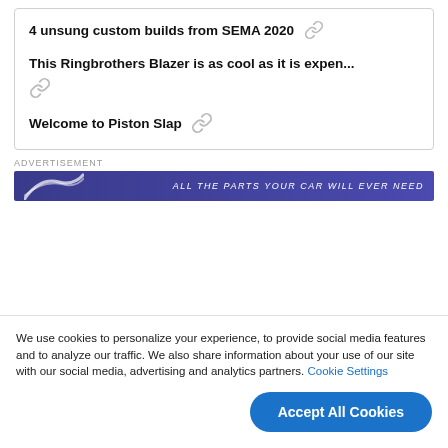4 unsung custom builds from SEMA 2020
This Ringbrothers Blazer is as cool as it is expen...
Welcome to Piston Slap
ADVERTISEMENT
[Figure (screenshot): Partial advertisement banner with blue/purple background and white italic text: ALL THE PARTS YOUR CAR WILL EVER NEED, with stylized swoosh graphic]
We use cookies to personalize your experience, to provide social media features and to analyze our traffic. We also share information about your use of our site with our social media, advertising and analytics partners. Cookie Settings
Accept All Cookies